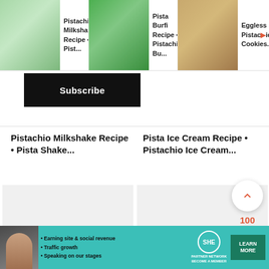[Figure (screenshot): Top navigation bar with three recipe thumbnail items: Pistachio Milkshake Recipe, Pista Burfi Recipe, Eggless Pistachio Cookies]
Pistachio Milkshake Recipe • Pist...
Pista Burfi Recipe • Pistachio Bu...
Eggless Pistachio Cookies...
Subscribe
Pistachio Milkshake Recipe • Pista Shake...
Pista Ice Cream Recipe • Pistachio Ice Cream...
48
107
100
Pista Burfi Recipe •
Eggless Pistachio Cookies
[Figure (screenshot): SHE Media Partner Network advertisement banner with woman photo, bullet points about earning site & social revenue, traffic growth, speaking on our stages, SHE logo, and LEARN MORE button]